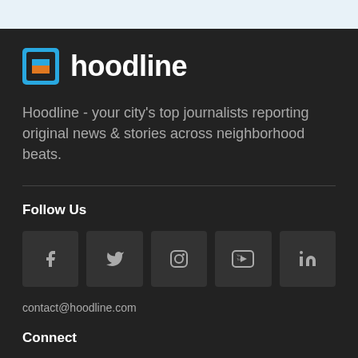[Figure (logo): Hoodline logo with blue/orange square icon and white bold text 'hoodline']
Hoodline - your city's top journalists reporting original news & stories across neighborhood beats.
Follow Us
[Figure (infographic): Row of 5 social media icon buttons: Facebook, Twitter, Instagram, YouTube, LinkedIn]
contact@hoodline.com
Connect